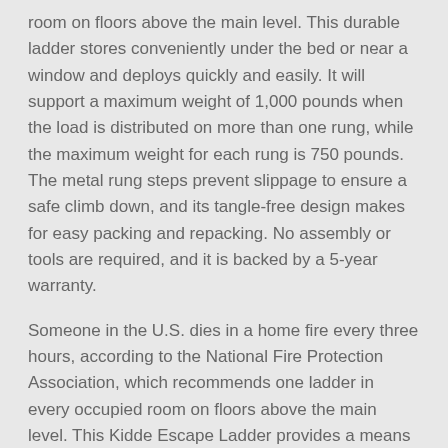room on floors above the main level. This durable ladder stores conveniently under the bed or near a window and deploys quickly and easily. It will support a maximum weight of 1,000 pounds when the load is distributed on more than one rung, while the maximum weight for each rung is 750 pounds. The metal rung steps prevent slippage to ensure a safe climb down, and its tangle-free design makes for easy packing and repacking. No assembly or tools are required, and it is backed by a 5-year warranty.
Someone in the U.S. dies in a home fire every three hours, according to the National Fire Protection Association, which recommends one ladder in every occupied room on floors above the main level. This Kidde Escape Ladder provides a means of escape from a fire from a three story home. It stores easily under the bed or near a window, and is quick and easy to use.
Features: